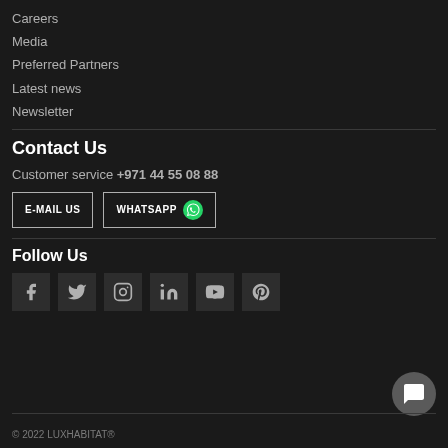Careers
Media
Preferred Partners
Latest news
Newsletter
Contact Us
Customer service +971 44 55 08 88
E-MAIL US
WHATSAPP
Follow Us
[Figure (illustration): Social media icons: Facebook, Twitter, Instagram, LinkedIn, YouTube, Pinterest]
© 2022 LUXHABITAT®